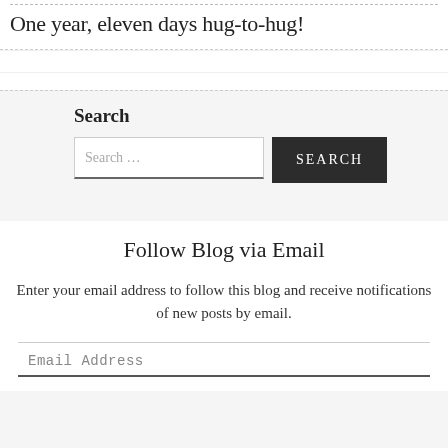One year, eleven days hug-to-hug!
Search
Follow Blog via Email
Enter your email address to follow this blog and receive notifications of new posts by email.
Email Address